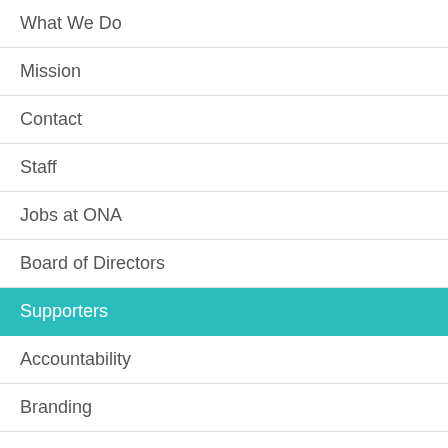What We Do
Mission
Contact
Staff
Jobs at ONA
Board of Directors
Supporters
Accountability
Branding
Promotional Opportunities
Become a Member